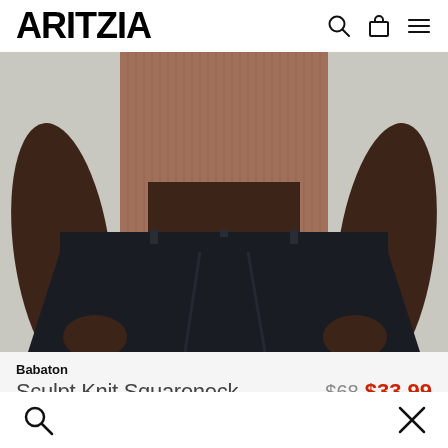ARITZIA
[Figure (photo): Close-up photo of a model wearing a brown ribbed knit top tucked into high-waisted wide-leg navy/black trousers with pleats, hands in pockets, against a light grey background.]
Babaton
Sculpt Knit Squareneck
$68 $33.99